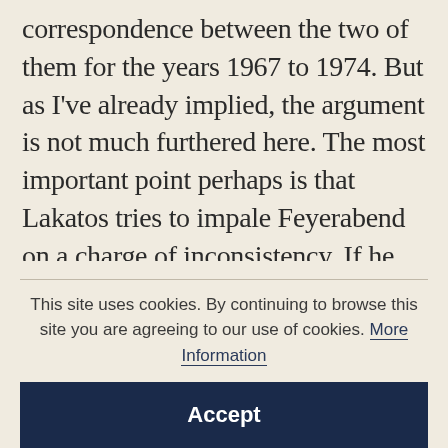correspondence between the two of them for the years 1967 to 1974. But as I've already implied, the argument is not much furthered here. The most important point perhaps is that Lakatos tries to impale Feyerabend on a charge of inconsistency. If he really claims that there is no rational scientific method, or anything that serves as a surrogate for such a thing, then he should confess to absolute scepticism, denying the possibility of knowledge. Feyerabend expostulates, and may to some extent win Lakatos over; but there the correspondence
This site uses cookies. By continuing to browse this site you are agreeing to our use of cookies. More Information
Accept